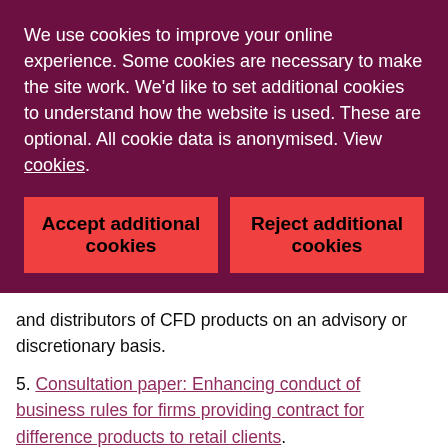We use cookies to improve your online experience. Some cookies are necessary to make the site work. We'd like to set additional cookies to understand how the website is used. These are optional. All cookie data is anonymised. View cookies.
Accept additional cookies | Reject additional cookies
and distributors of CFD products on an advisory or discretionary basis.
5. Consultation paper: Enhancing conduct of business rules for firms providing contract for difference products to retail clients.
6. Statement on Binary Options: FCA confirms permanent ban on the sale of binary options to retail consumers.
7. Policy Statement: Finalised rules restricting how CFDs and CFD-like options are sold, marketed, and distributed to retail consumers.
8. The FCA's action follows a similar move by the Italian regulator, the